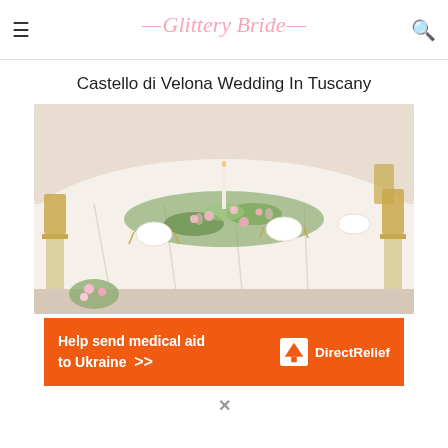≡   Glittery Bride   🔍
Castello di Velona Wedding In Tuscany
[Figure (photo): Elegantly set wedding reception table with white tablecloth, floral greenery centerpiece with pink flowers, gold chiavari chairs, candles, and place settings with gold cutlery.]
[Figure (infographic): Orange advertisement banner reading 'Help send medical aid to Ukraine >>' with Direct Relief logo on the right.]